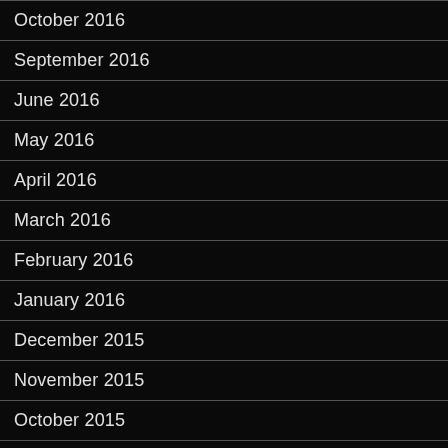October 2016
September 2016
June 2016
May 2016
April 2016
March 2016
February 2016
January 2016
December 2015
November 2015
October 2015
September 2015